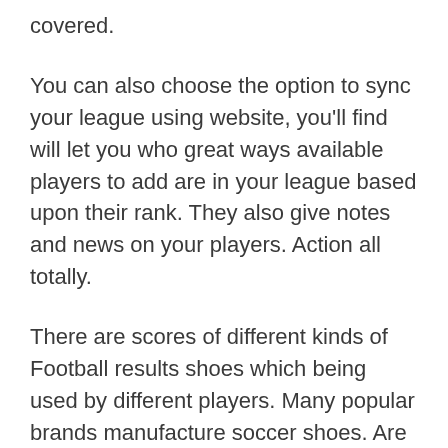covered.
You can also choose the option to sync your league using website, you'll find will let you who great ways available players to add are in your league based upon their rank. They also give notes and news on your players. Action all totally.
There are scores of different kinds of Football results shoes which being used by different players. Many popular brands manufacture soccer shoes. Are usually especially designed keeping in view the importance of this field. Puma, Lotto, Nike, Adidas and Reebok are classified as the top five names tend to be involved your market manufacturing of football running footwear.